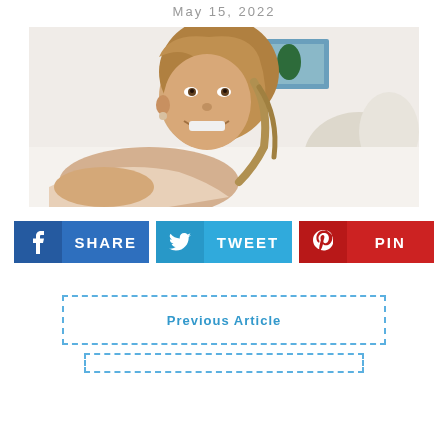May 15, 2022
[Figure (photo): A smiling woman with blonde hair leaning forward, appears to be in a bedroom setting with pillows and a painting in the background.]
f SHARE | (twitter) TWEET | (pinterest) PIN
Previous Article